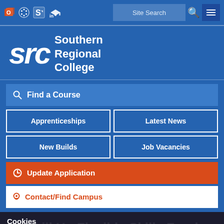Southern Regional College – Site navigation header with icons, search bar, and hamburger menu
[Figure (logo): Southern Regional College logo: 'src' in large italic white text with 'Southern Regional College' text to the right, on blue background]
Find a Course
Apprenticeships
Latest News
New Builds
Job Vacancies
Update Application
Contact/Find Campus
Cookies
We use cookies on this site to ensure you receive the best user experience. By continuing to use our website you are